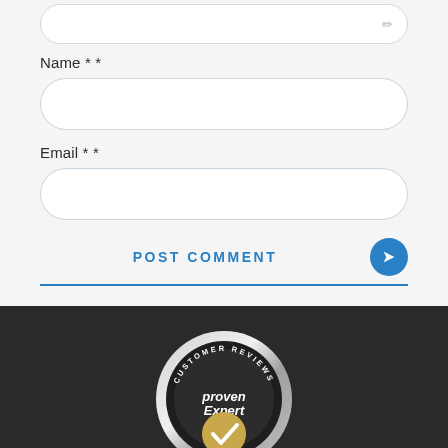Name * *
Email * *
POST COMMENT
[Figure (logo): ProvenExpert Customer Reviews badge — circular badge with metallic silver outer ring, dark inner ring with 'CUSTOMER REVIEWS' text around top arc, 'proven Expert' text in center, and a gold circle with white checkmark at bottom center.]